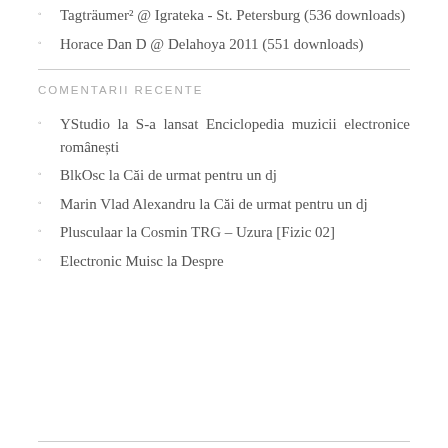Tagträumer² @ Igrateka - St. Petersburg (536 downloads)
Horace Dan D @ Delahoya 2011 (551 downloads)
COMENTARII RECENTE
YStudio la S-a lansat Enciclopedia muzicii electronice românești
BlkOsc la Căi de urmat pentru un dj
Marin Vlad Alexandru la Căi de urmat pentru un dj
Plusculaar la Cosmin TRG – Uzura [Fizic 02]
Electronic Muisc la Despre